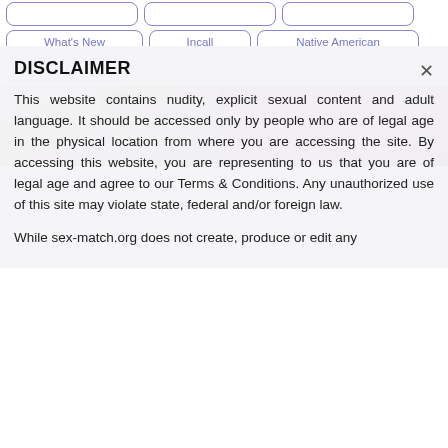What's New
Incall
Native American
Mature
[Figure (photo): Two side-by-side photos: left shows a woman with dark hair outdoors near stone architecture; right shows a purple-lit close-up scene.]
DISCLAIMER
This website contains nudity, explicit sexual content and adult language. It should be accessed only by people who are of legal age in the physical location from where you are accessing the site. By accessing this website, you are representing to us that you are of legal age and agree to our Terms & Conditions. Any unauthorized use of this site may violate state, federal and/or foreign law.
While sex-match.org does not create, produce or edit any